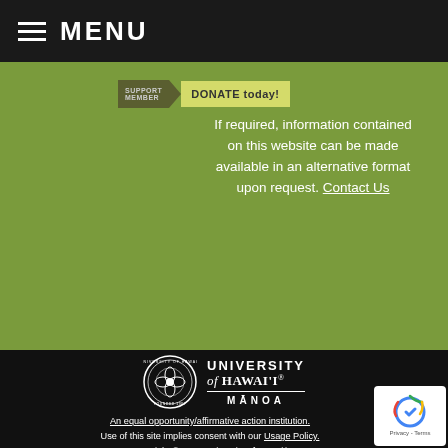MENU
[Figure (other): Donate today button with left tab and yellow label]
If required, information contained on this website can be made available in an alternative format upon request. Contact Us
[Figure (logo): University of Hawaii at Manoa seal and wordmark logo in white on black background]
An equal opportunity/affirmative action institution. Use of this site implies consent with our Usage Policy. Copyright © 2019 University of Hawai'i.